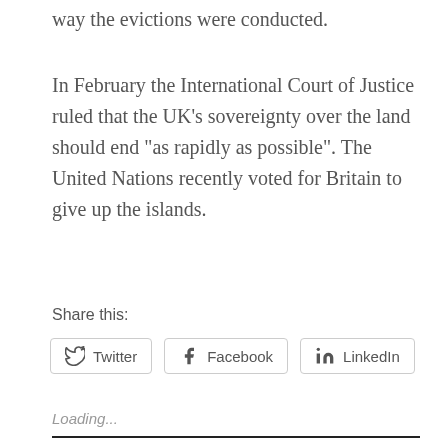way the evictions were conducted.
In February the International Court of Justice ruled that the UK's sovereignty over the land should end "as rapidly as possible". The United Nations recently voted for Britain to give up the islands.
Share this:
[Figure (other): Share buttons for Twitter, Facebook, and LinkedIn]
Loading...
« Previous / Next »